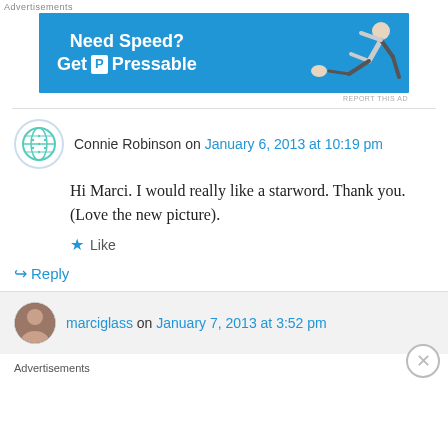Advertisements
[Figure (illustration): Blue banner advertisement for Pressable hosting with text 'Need Speed? Get Pressable' and an illustration of a person running/flying on the right side.]
REPORT THIS AD
Connie Robinson on January 6, 2013 at 10:19 pm
Hi Marci. I would really like a starword. Thank you. (Love the new picture).
Like
↳ Reply
marciglass on January 7, 2013 at 3:52 pm
Advertisements